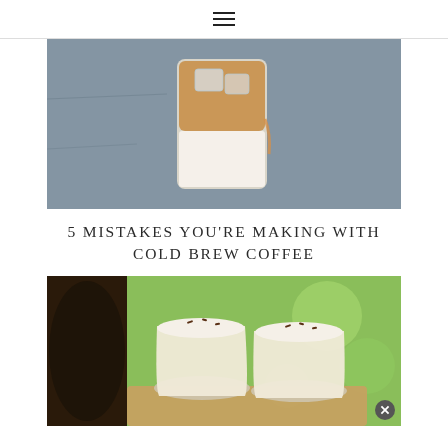≡
[Figure (photo): Iced coffee drink in a glass with ice cubes and cream, set on a grey stone surface]
5 MISTAKES YOU'RE MAKING WITH COLD BREW COFFEE
[Figure (photo): Two creamy coffee drinks in round glasses with dark sprinkles on top, set on a wooden board with a green bokeh background and a dark coffee pot on the left]